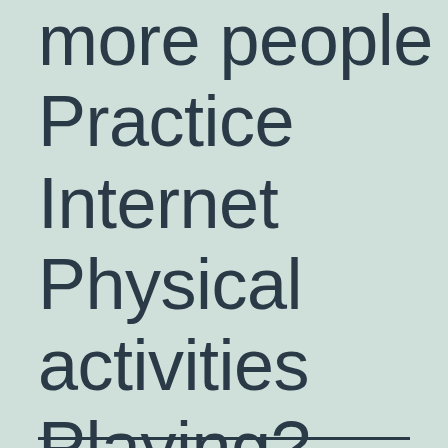more people Practice Internet Physical activities Playing?